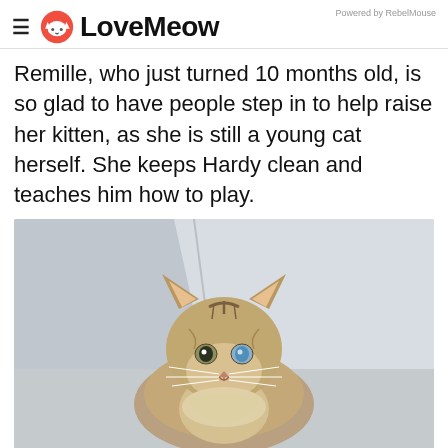LoveMeow — Powered by RebelMouse
Remille, who just turned 10 months old, is so glad to have people step in to help raise her kitten, as she is still a young cat herself. She keeps Hardy clean and teaches him how to play.
[Figure (photo): A fluffy tabby kitten with one blue eye and one normal eye sitting in a white corner, looking directly at the camera.]
[Figure (infographic): Social share buttons: Facebook (f) and Twitter (bird icon)]